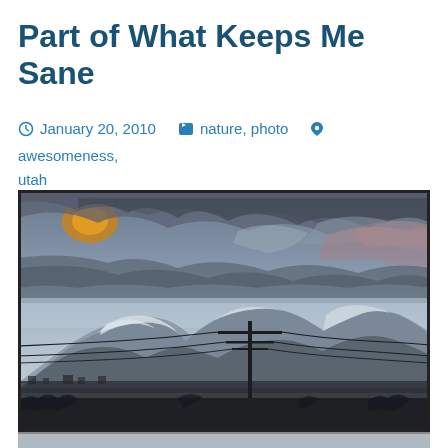Part of What Keeps Me Sane
January 20, 2010   nature, photo   awesomeness, utah
[Figure (photo): Winter landscape photograph showing snow-capped mountains under a dramatic cloudy sky at dusk/dawn, with a power line pole and utility lines in the foreground and a flat valley between the viewer and the mountains.]